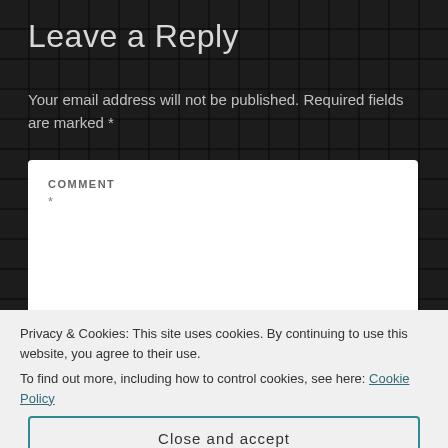Leave a Reply
Your email address will not be published. Required fields are marked *
COMMENT
*
Privacy & Cookies: This site uses cookies. By continuing to use this website, you agree to their use.
To find out more, including how to control cookies, see here: Cookie Policy
Close and accept
NAME *